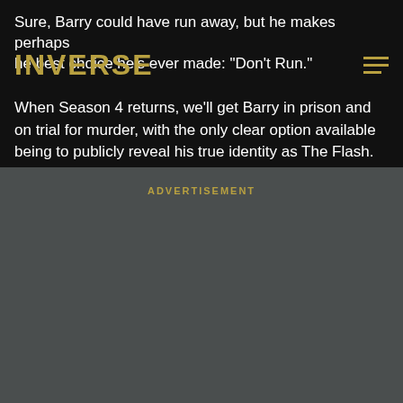Sure, Barry could have run away, but he makes perhaps he best choice he's ever made: “Don’t Run.”
INVERSE
When Season 4 returns, we’ll get Barry in prison and on trial for murder, with the only clear option available being to publicly reveal his true identity as The Flash.
ADVERTISEMENT